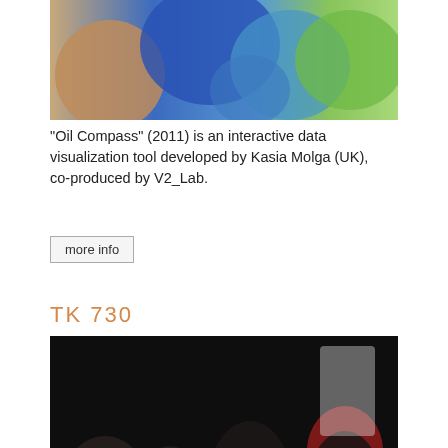[Figure (photo): Interactive data visualization showing colorful map/globe imagery with blue, green, and earth tones]
"Oil Compass" (2011) is an interactive data visualization tool developed by Kasia Molga (UK), co-produced by V2_Lab.
more info
TK 730
[Figure (photo): Group photo of four people (eTextiles Workspace group) posing with a rectangular metallic/textile art object on a table in a dark room]
The "TK 730" (2011) is a work by the eTextiles Workspace group (Anja Hertenberger, Leonie Urff,